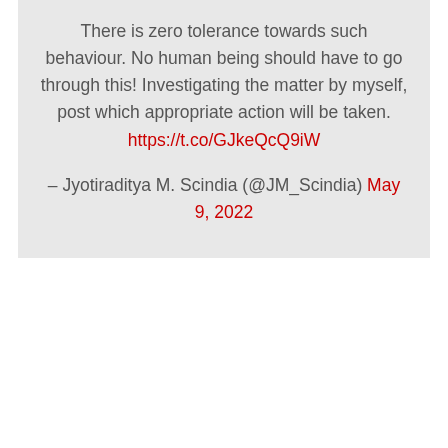There is zero tolerance towards such behaviour. No human being should have to go through this! Investigating the matter by myself, post which appropriate action will be taken. https://t.co/GJkeQcQ9iW

— Jyotiraditya M. Scindia (@JM_Scindia) May 9, 2022